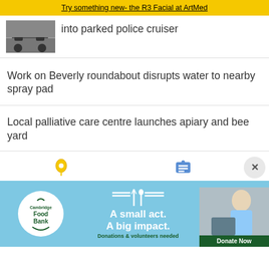Try something new- the R3 Facial at ArtMed
into parked police cruiser
Work on Beverly roundabout disrupts water to nearby spray pad
Local palliative care centre launches apiary and bee yard
[Figure (photo): Small thumbnail image of police cruiser article]
[Figure (infographic): Cambridge Food Bank advertisement banner: A small act. A big impact. Donations & volunteers needed. Donate Now button.]